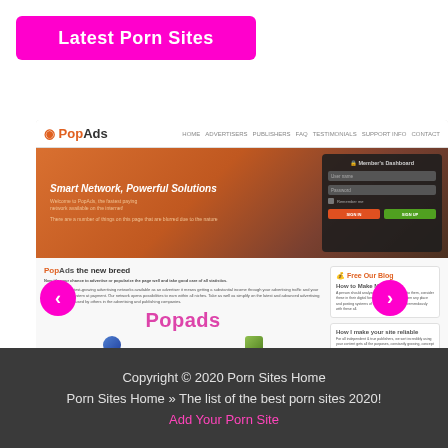Latest Porn Sites
[Figure (screenshot): Screenshot of PopAds website showing the homepage with navigation bar, hero banner with 'Smart Network, Powerful Solutions' text and Member's Dashboard login form, and content sections below including 'PopAds the new breed' text and 'Popads' overlay label, with left/right navigation arrows in magenta circles]
Copyright © 2020 Porn Sites Home
Porn Sites Home » The list of the best porn sites 2020!
Add Your Porn Site